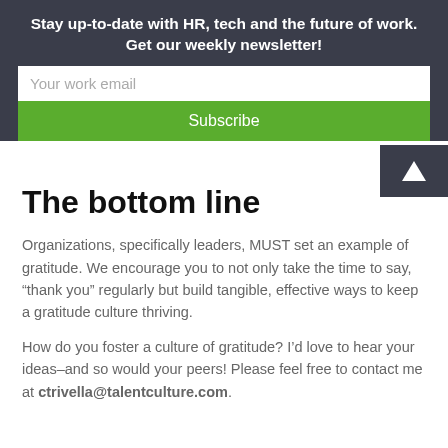Stay up-to-date with HR, tech and the future of work. Get our weekly newsletter!
Your work email
Subscribe
The bottom line
Organizations, specifically leaders, MUST set an example of gratitude. We encourage you to not only take the time to say, “thank you” regularly but build tangible, effective ways to keep a gratitude culture thriving.
How do you foster a culture of gratitude? I’d love to hear your ideas–and so would your peers! Please feel free to contact me at ctrivella@talentculture.com.